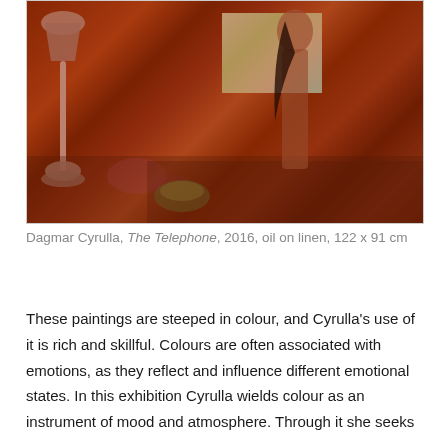[Figure (photo): Oil painting by Dagmar Cyrulla titled 'The Telephone', 2016. A nude figure stands with back to viewer looking at a framed artwork on a warm reddish-brown wall. A floor lamp is on the left, a small metallic object on the floor in the foreground.]
Dagmar Cyrulla, The Telephone, 2016, oil on linen, 122 x 91 cm
These paintings are steeped in colour, and Cyrulla's use of it is rich and skillful. Colours are often associated with emotions, as they reflect and influence different emotional states. In this exhibition Cyrulla wields colour as an instrument of mood and atmosphere. Through it she seeks